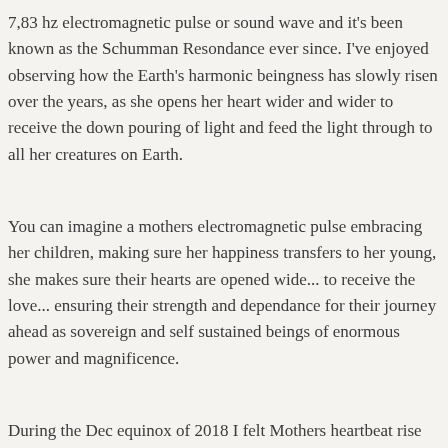7,83 hz electromagnetic pulse or sound wave and it's been known as the Schumman Resondance ever since. I've enjoyed observing how the Earth's harmonic beingness has slowly risen over the years, as she opens her heart wider and wider to receive the down pouring of light and feed the light through to all her creatures on Earth.
You can imagine a mothers electromagnetic pulse embracing her children, making sure her happiness transfers to her young, she makes sure their hearts are opened wide... to receive the love... ensuring their strength and dependance for their journey ahead as sovereign and self sustained beings of enormous power and magnificence.
During the Dec equinox of 2018 I felt Mothers heartbeat rise and go through the roof... my heart took a massive pulse, opening like never before, allowing me to perceive more of the big picture. My husband